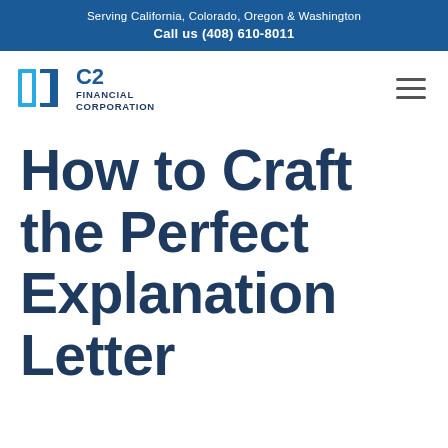Serving California, Colorado, Oregon & Washington
Call us (408) 610-8011
[Figure (logo): C2 Financial Corporation logo with two square bracket shapes in blue and the text C2 FINANCIAL CORPORATION]
How to Craft the Perfect Explanation Letter